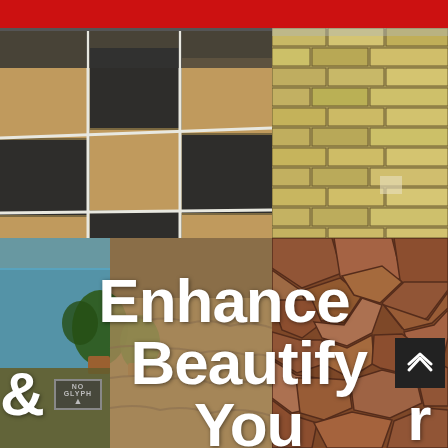[Figure (photo): Collage of four outdoor hardscaping photos: top-left shows a stamped/colored concrete patio with alternating tan and dark charcoal square tiles; top-right shows a brick retaining wall with tan/yellow brickwork; bottom-left shows a decorative concrete pool deck with potted plants and blue pool water; bottom-right shows a flagstone/crazy-paving floor in reddish-brown tones.]
Enhance & Beautify Your Space